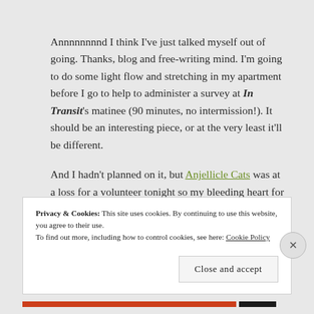Annnnnnnnd I think I've just talked myself out of going. Thanks, blog and free-writing mind. I'm going to do some light flow and stretching in my apartment before I go to help to administer a survey at In Transit's matinee (90 minutes, no intermission!). It should be an interesting piece, or at the very least it'll be different.
And I hadn't planned on it, but Anjellicle Cats was at a loss for a volunteer tonight so my bleeding heart for
Privacy & Cookies: This site uses cookies. By continuing to use this website, you agree to their use.
To find out more, including how to control cookies, see here: Cookie Policy
Close and accept